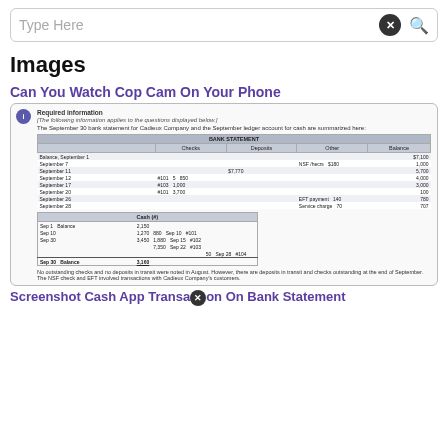Type Here [search bar with X button and search icon]
Images
Can You Watch Cop Cam On Your Phone
[Figure (screenshot): Screenshot of an accounting textbook page showing Required Information section with a Bank Statement table and Cash ledger table for Cadieux Company for September. Includes text about NSF checks, EFT transactions, deposits in transit and outstanding checks.]
Screenshot Cash App Transaction On Bank Statement